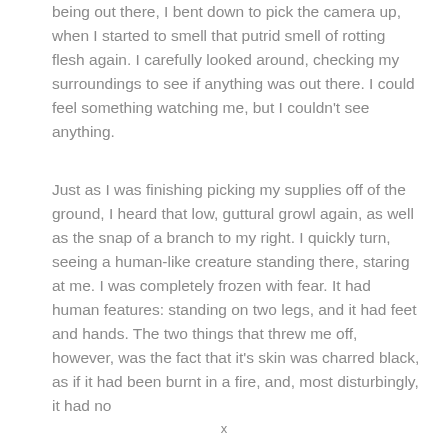being out there, I bent down to pick the camera up, when I started to smell that putrid smell of rotting flesh again. I carefully looked around, checking my surroundings to see if anything was out there. I could feel something watching me, but I couldn't see anything.
Just as I was finishing picking my supplies off of the ground, I heard that low, guttural growl again, as well as the snap of a branch to my right. I quickly turn, seeing a human-like creature standing there, staring at me. I was completely frozen with fear. It had human features: standing on two legs, and it had feet and hands. The two things that threw me off, however, was the fact that it's skin was charred black, as if it had been burnt in a fire, and, most disturbingly, it had no
x